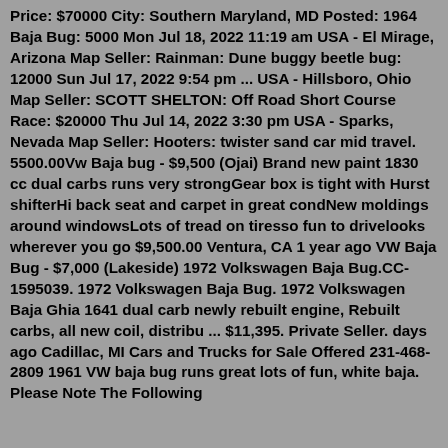Price: $70000 City: Southern Maryland, MD Posted: 1964 Baja Bug: 5000 Mon Jul 18, 2022 11:19 am USA - El Mirage, Arizona Map Seller: Rainman: Dune buggy beetle bug: 12000 Sun Jul 17, 2022 9:54 pm ... USA - Hillsboro, Ohio Map Seller: SCOTT SHELTON: Off Road Short Course Race: $20000 Thu Jul 14, 2022 3:30 pm USA - Sparks, Nevada Map Seller: Hooters: twister sand car mid travel. 5500.00Vw Baja bug - $9,500 (Ojai) Brand new paint 1830 cc dual carbs runs very strongGear box is tight with Hurst shifterHi back seat and carpet in great condNew moldings around windowsLots of tread on tiresso fun to drivelooks wherever you go $9,500.00 Ventura, CA 1 year ago VW Baja Bug - $7,000 (Lakeside) 1972 Volkswagen Baja Bug.CC-1595039. 1972 Volkswagen Baja Bug. 1972 Volkswagen Baja Ghia 1641 dual carb newly rebuilt engine, Rebuilt carbs, all new coil, distribu ... $11,395. Private Seller. days ago Cadillac, MI Cars and Trucks for Sale Offered 231-468-2809 1961 VW baja bug runs great lots of fun, white baja. Please Note The Following